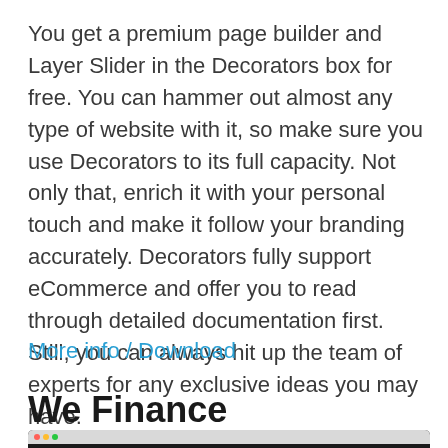You get a premium page builder and Layer Slider in the Decorators box for free. You can hammer out almost any type of website with it, so make sure you use Decorators to its full capacity. Not only that, enrich it with your personal touch and make it follow your branding accurately. Decorators fully support eCommerce and offer you to read through detailed documentation first. Still, you can always hit up the team of experts for any exclusive ideas you may have.
More info / Download
We Finance
[Figure (screenshot): Screenshot of a website, showing a dark header bar with browser window controls (red, yellow, green dots) and a dark content area.]